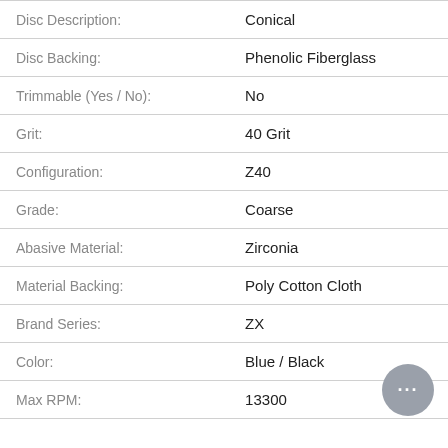| Property | Value |
| --- | --- |
| Disc Description: | Conical |
| Disc Backing: | Phenolic Fiberglass |
| Trimmable (Yes / No): | No |
| Grit: | 40 Grit |
| Configuration: | Z40 |
| Grade: | Coarse |
| Abasive Material: | Zirconia |
| Material Backing: | Poly Cotton Cloth |
| Brand Series: | ZX |
| Color: | Blue / Black |
| Max RPM: | 13300 |